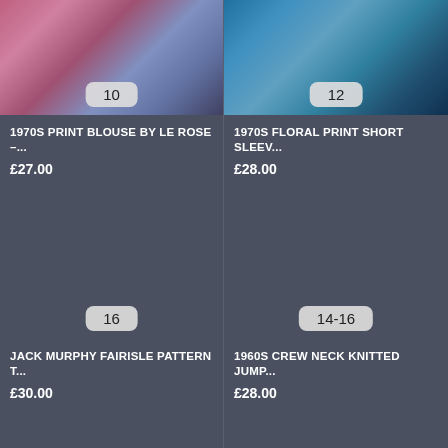[Figure (photo): 1970s print blouse product image, colorful pink/blue floral pattern, size badge showing 10]
1970S PRINT BLOUSE BY LE ROSE –...
£27.00
[Figure (photo): 1970s floral print short sleeve top product image, teal/blue pattern, size badge showing 12]
1970S FLORAL PRINT SHORT SLEEV...
£28.00
[Figure (photo): Jack Murphy Fairisle pattern top product image, size badge showing 16]
JACK MURPHY FAIRISLE PATTERN T...
£30.00
[Figure (photo): 1960s crew neck knitted jumper product image, size badge showing 14-16]
1960S CREW NECK KNITTED JUMP...
£28.00